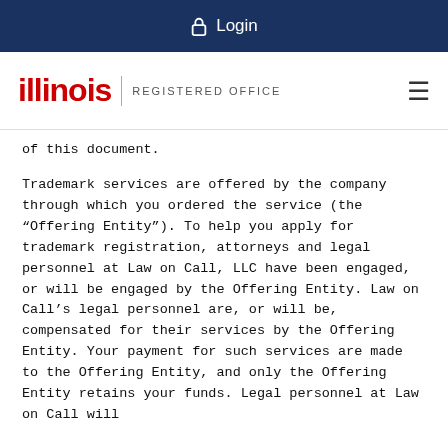Login
illinois REGISTERED OFFICE
of this document.
Trademark services are offered by the company through which you ordered the service (the “Offering Entity”). To help you apply for trademark registration, attorneys and legal personnel at Law on Call, LLC have been engaged, or will be engaged by the Offering Entity. Law on Call’s legal personnel are, or will be, compensated for their services by the Offering Entity. Your payment for such services are made to the Offering Entity, and only the Offering Entity retains your funds. Legal personnel at Law on Call will